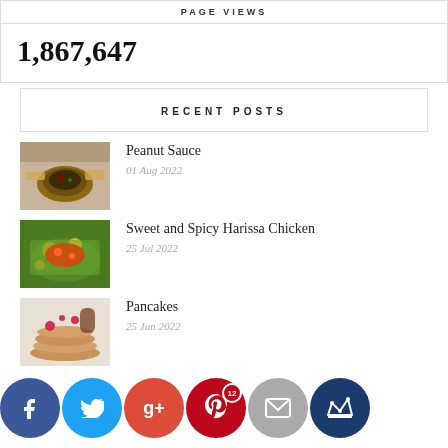PAGE VIEWS
1,867,647
RECENT POSTS
Peanut Sauce
01 Aug 2022
Sweet and Spicy Harissa Chicken
25 Jul 2022
Pancakes
25 Jun 2022
Creamy Feta Sauce